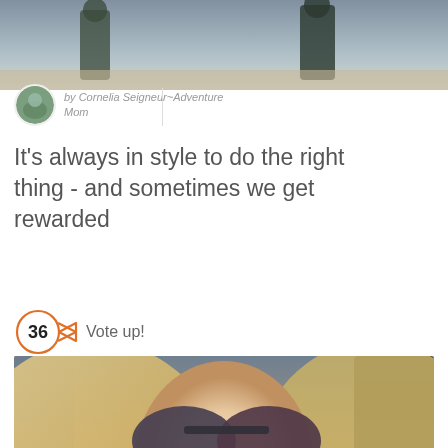[Figure (photo): Top photo showing two people outdoors near water, partially cropped]
by Cornelia Seigneur~Adventure Mom
It's always in style to do the right thing - and sometimes we get rewarded
36  Vote up!
[Figure (photo): Selfie of a blonde woman wearing large round sunglasses, smiling, in a car]
[Figure (photo): Small circular avatar photo at bottom, partially visible]